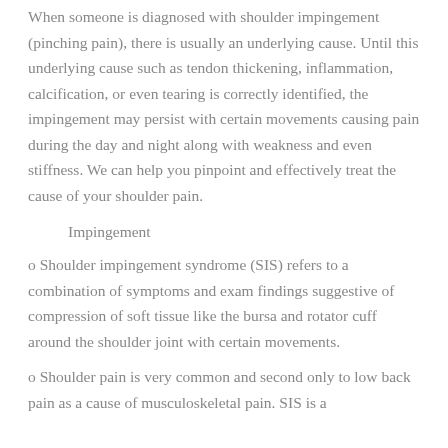When someone is diagnosed with shoulder impingement (pinching pain), there is usually an underlying cause. Until this underlying cause such as tendon thickening, inflammation, calcification, or even tearing is correctly identified, the impingement may persist with certain movements causing pain during the day and night along with weakness and even stiffness. We can help you pinpoint and effectively treat the cause of your shoulder pain.
Impingement
o Shoulder impingement syndrome (SIS) refers to a combination of symptoms and exam findings suggestive of compression of soft tissue like the bursa and rotator cuff around the shoulder joint with certain movements.
o Shoulder pain is very common and second only to low back pain as a cause of musculoskeletal pain. SIS is a